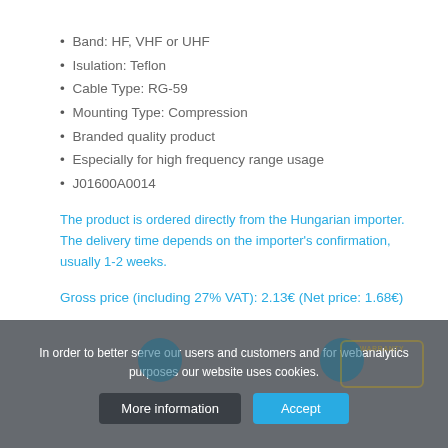Band: HF, VHF or UHF
Isulation: Teflon
Cable Type: RG-59
Mounting Type: Compression
Branded quality product
Especially for high frequency range usage
J01600A0014
The product is ordered directly from the Hungarian importer. The delivery time depends on the importer's confirmation, usually 1-2 weeks.
Gross price (including 27% VAT): 2.13€ (Net price: 1.68€)
In order to better serve our users and customers and for webanalytics purposes our website uses cookies.